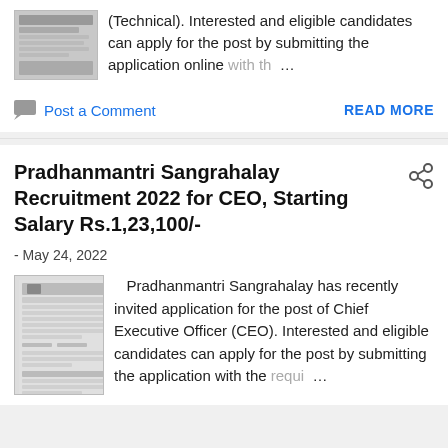(Technical). Interested and eligible candidates can apply for the post by submitting the application online with th...
Post a Comment
READ MORE
Pradhanmantri Sangrahalay Recruitment 2022 for CEO, Starting Salary Rs.1,23,100/-
- May 24, 2022
[Figure (photo): Thumbnail image of Pradhanmantri Sangrahalay recruitment notification document in Hindi]
Pradhanmantri Sangrahalay has recently invited application for the post of Chief Executive Officer (CEO). Interested and eligible candidates can apply for the post by submitting the application with the requi...